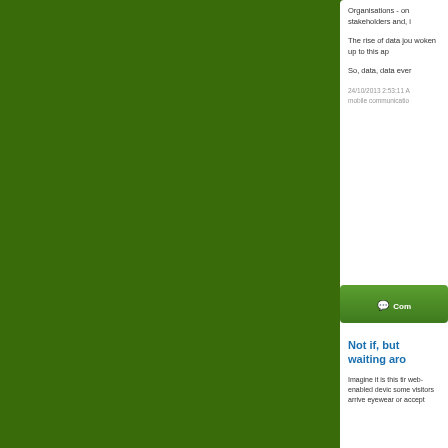Organisations - on stakeholders and, i
The rise of data jou woken up to this ap
So, data, data ever
24/10/2013 2:53:11 mobile communicatio
Com
Not if, but waiting aro
Imagine it is this tir web-enabled devic some visitors arrive eyewear or accept